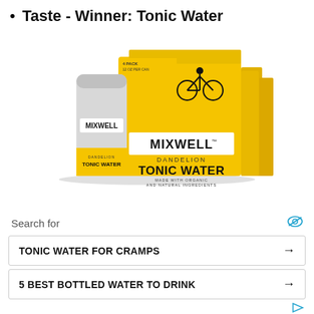Taste - Winner: Tonic Water
[Figure (photo): Mixwell Dandelion Tonic Water product photo showing a can and a 4-pack box, yellow and white packaging with bicycle illustration, text reads: MIXWELL DANDELION TONIC WATER MADE WITH ORGANIC AND NATURAL INGREDIENTS A PREMIUM MIXER 4 PACK 12 OZ PER CAN]
Search for
TONIC WATER FOR CRAMPS →
5 BEST BOTTLED WATER TO DRINK →